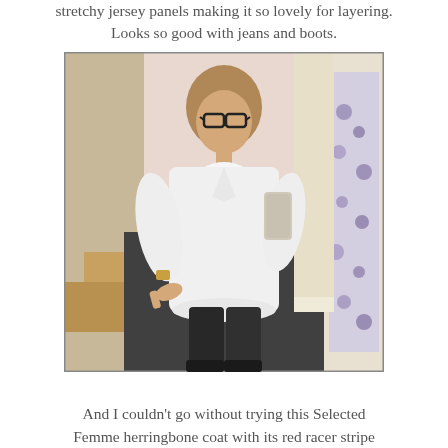stretchy jersey panels making it so lovely for layering. Looks so good with jeans and boots.
[Figure (photo): A woman wearing glasses and a white long-sleeve blouse with dark trousers takes a mirror selfie in what appears to be a shop changing area. She is holding a smartphone. The background shows a corridor with floral curtains on the right and a shop floor visible on the left.]
And I couldn't go without trying this Selected Femme herringbone coat with its red racer stripe